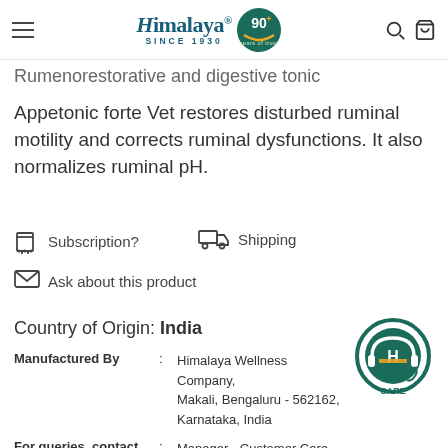Himalaya SINCE 1930 | 90+ years
Rumenorestorative and digestive tonic
Appetonic forte Vet restores disturbed ruminal motility and corrects ruminal dysfunctions. It also normalizes ruminal pH.
Subscription?
Shipping
Ask about this product
Country of Origin: India
| Field | : | Value |
| --- | --- | --- |
| Manufactured By | : | Himalaya Wellness Company, Makali, Bengaluru - 562162, Karnataka, India |
| For queries, contact | : | Manager - Customer Care Himalaya Wellness Company, Makali, Bengaluru - 562162, Karnataka, India |